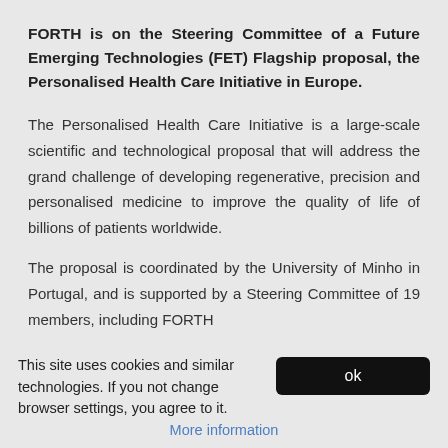FORTH is on the Steering Committee of a Future Emerging Technologies (FET) Flagship proposal, the Personalised Health Care Initiative in Europe.
The Personalised Health Care Initiative is a large-scale scientific and technological proposal that will address the grand challenge of developing regenerative, precision and personalised medicine to improve the quality of life of billions of patients worldwide.
The proposal is coordinated by the University of Minho in Portugal, and is supported by a Steering Committee of 19 members, including FORTH
This site uses cookies and similar technologies. If you not change browser settings, you agree to it. More information